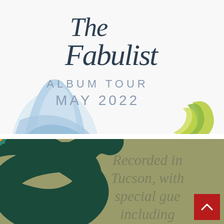[Figure (illustration): Album promotional image for 'The Fabulist Album Tour May 2022'. White background with a person shown from waist down wearing a light blue flowing dress/skirt, barefoot. Text in handwritten script reads 'The Fabulist' at top. Below in spaced serif capitals: 'ALBUM TOUR' and 'MAY 2022'. A green crescent moon/swirl logo is in the lower right corner.]
[Figure (illustration): Album promotional image with an olive/khaki background showing a decorative snake illustrated with daisy flower patterns (teal petals with orange centers on black snake body). Text on the right side reads: 'Recorded in Tucson, with special gue[sts] including'. A red square scroll-to-top button with white chevron arrow is overlaid in the bottom right corner.]